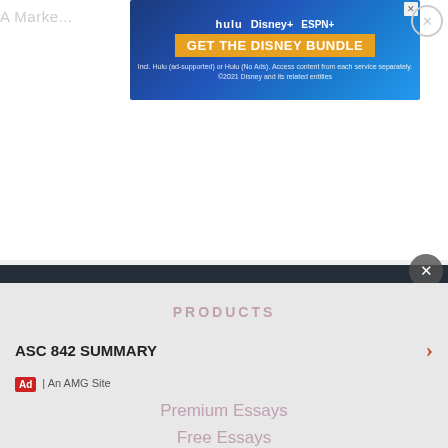[Figure (screenshot): Disney Bundle advertisement banner with Hulu, Disney+, ESPN+ logos and 'GET THE DISNEY BUNDLE' call to action button]
[Figure (logo): StudyMode logo with lightbulb icon and text 'StudyMode' in dark footer area]
[Figure (infographic): Social media icons: Facebook, Twitter, Instagram in circular outlines]
©2022 Studymode.com
PRODUCTS
ASC 842 SUMMARY
Ad | An AMG Site
Premium Essays
Free Essays